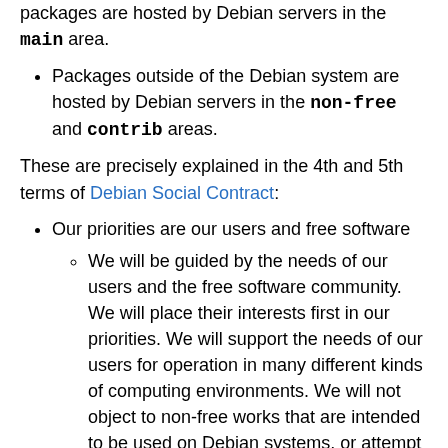The Debian system is 100% free and its packages are hosted by Debian servers in the main area.
Packages outside of the Debian system are hosted by Debian servers in the non-free and contrib areas.
These are precisely explained in the 4th and 5th terms of Debian Social Contract:
Our priorities are our users and free software
We will be guided by the needs of our users and the free software community. We will place their interests first in our priorities. We will support the needs of our users for operation in many different kinds of computing environments. We will not object to non-free works that are intended to be used on Debian systems, or attempt to charge a fee to people who create or use such works. We will allow others to create distributions containing both the Debian system and other works, without